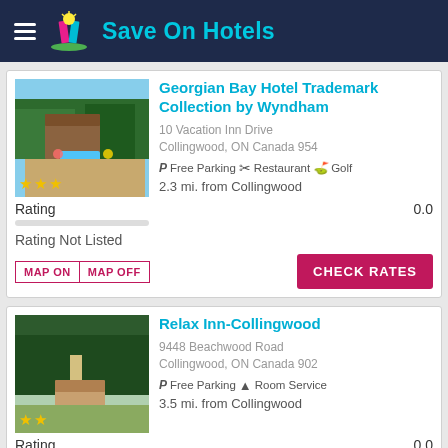Save On Hotels
Georgian Bay Hotel Trademark Collection by Wyndham
10 Vacation Inn Drive
Collingwood, ON Canada 954
P Free Parking  Restaurant  Golf
2.3 mi. from Collingwood
Rating  0.0
Rating Not Listed
Relax Inn-Collingwood
9448 Beachwood Road
Collingwood, ON Canada 902
P Free Parking  Room Service
3.5 mi. from Collingwood
Rating  0.0
Rating Not Listed